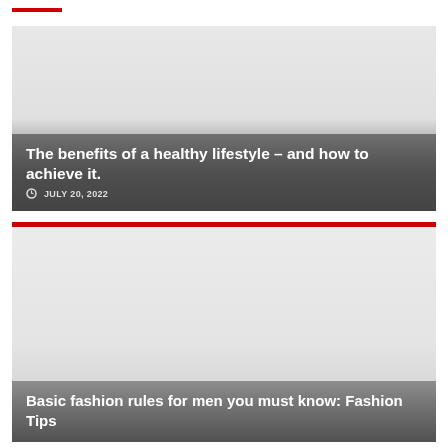[Figure (photo): Article card image with gradient overlay showing title: The benefits of a healthy lifestyle – and how to achieve it., dated July 20, 2022]
The benefits of a healthy lifestyle – and how to achieve it.
JULY 20, 2022
[Figure (photo): Article card image with red top bar and gradient overlay showing title: Basic fashion rules for men you must know: Fashion Tips]
Basic fashion rules for men you must know: Fashion Tips